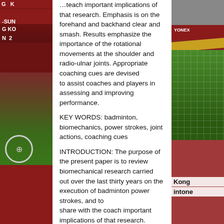[Figure (photo): Left side: photo of badminton player in red uniform at a tournament venue (partially visible). Right side: photo of badminton player mid-swing at a tournament. Both photos flank a central white text column.]
…teach important implications of that research. Emphasis is on the forehand and backhand clear and smash. Results emphasize the importance of the rotational movements at the shoulder and radio-ulnar joints. Appropriate coaching cues are devised to assist coaches and players in assessing and improving performance.
KEY WORDS: badminton, biomechanics, power strokes, joint actions, coaching cues
INTRODUCTION: The purpose of the present paper is to review biomechanical research carried out over the last thirty years on the execution of badminton power strokes, and to share with the coach important implications of that research.
Thirty years ago, very little research had been done on the game of badminton